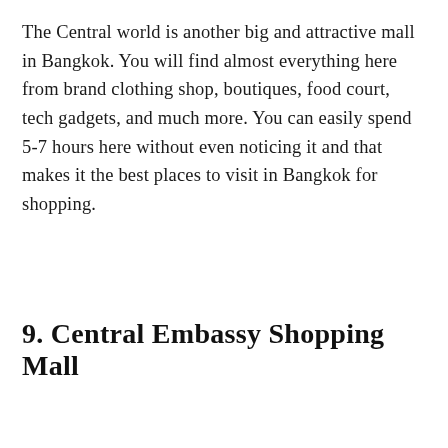The Central world is another big and attractive mall in Bangkok. You will find almost everything here from brand clothing shop, boutiques, food court, tech gadgets, and much more. You can easily spend 5-7 hours here without even noticing it and that makes it the best places to visit in Bangkok for shopping.
9. Central Embassy Shopping Mall